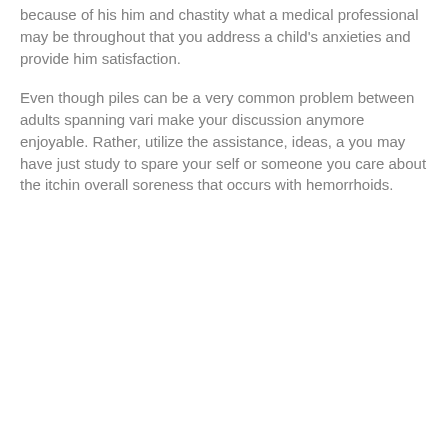because of his him and chastity what a medical professional may be throughout that you address a child's anxieties and provide him satisfaction.
Even though piles can be a very common problem between adults spanning vari make your discussion anymore enjoyable. Rather, utilize the assistance, ideas, a you may have just study to spare your self or someone you care about the itchin overall soreness that occurs with hemorrhoids.